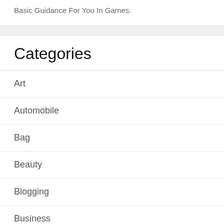Basic Guidance For You In Games.
Categories
Art
Automobile
Bag
Beauty
Blogging
Business
Career
Citizenship